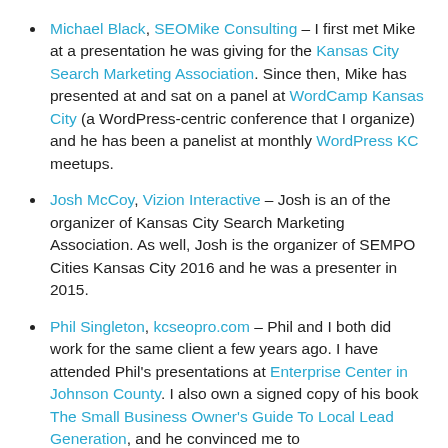Michael Black, SEOMike Consulting – I first met Mike at a presentation he was giving for the Kansas City Search Marketing Association. Since then, Mike has presented at and sat on a panel at WordCamp Kansas City (a WordPress-centric conference that I organize) and he has been a panelist at monthly WordPress KC meetups.
Josh McCoy, Vizion Interactive – Josh is an of the organizer of Kansas City Search Marketing Association. As well, Josh is the organizer of SEMPO Cities Kansas City 2016 and he was a presenter in 2015.
Phil Singleton, kcseopro.com – Phil and I both did work for the same client a few years ago. I have attended Phil's presentations at Enterprise Center in Johnson County. I also own a signed copy of his book The Small Business Owner's Guide To Local Lead Generation, and he convinced me to